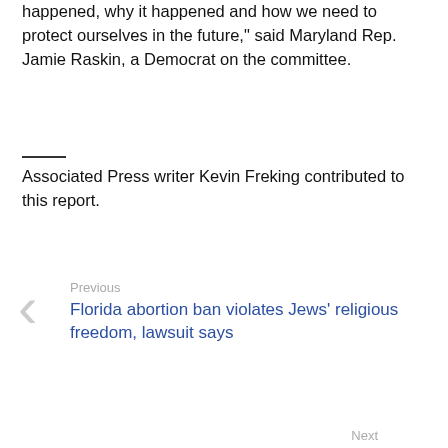happened, why it happened and how we need to protect ourselves in the future," said Maryland Rep. Jamie Raskin, a Democrat on the committee.
Associated Press writer Kevin Freking contributed to this report.
Previous
Florida abortion ban violates Jews' religious freedom, lawsuit says
Next
No angst about college athletes cashing in at 1st NIL summit